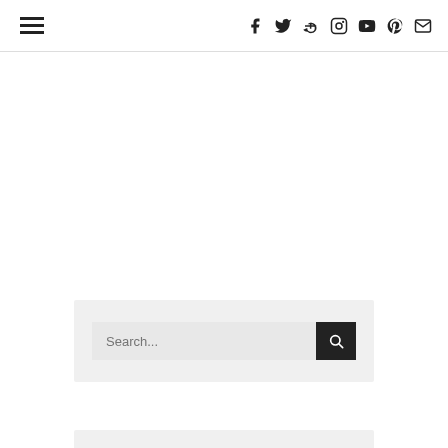Navigation bar with hamburger menu and social icons: Facebook, Twitter, Google+, Instagram, YouTube, Pinterest, Email
[Figure (screenshot): Search bar widget with text input showing 'Search...' placeholder and a dark search button with magnifying glass icon, on a light grey background panel]